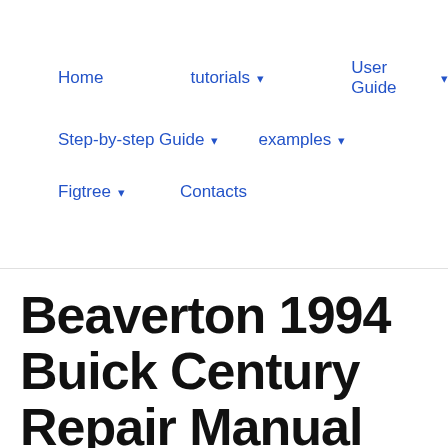Home   tutorials ▾   User Guide ▾   Step-by-step Guide ▾   examples ▾   Figtree ▾   Contacts
Beaverton 1994 Buick Century Repair Manual